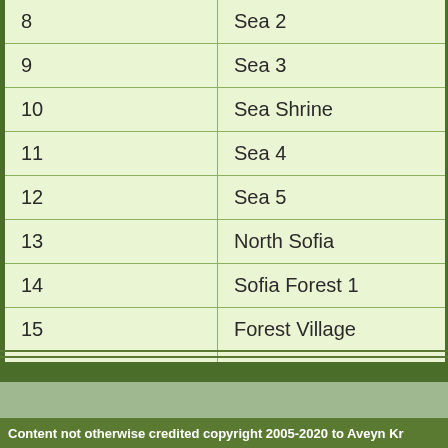| # | Name |
| --- | --- |
| 8 | Sea 2 |
| 9 | Sea 3 |
| 10 | Sea Shrine |
| 11 | Sea 4 |
| 12 | Sea 5 |
| 13 | North Sofia |
| 14 | Sofia Forest 1 |
| 15 | Forest Village |
| 16 | Sofia Forest 2 |
| 17 | Forest North |
Content not otherwise credited copyright 2005-2020 to Aveyn Kr